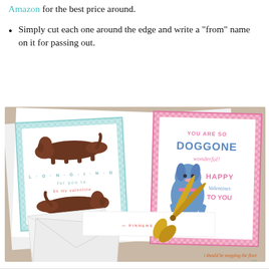Amazon for the best price around.
Simply cut each one around the edge and write a "from" name on it for passing out.
[Figure (photo): Photo showing two printed Valentine's Day dog-themed cards with gingham borders, envelopes, and gold scissors on a light surface. Left card has dachshund dogs on teal gingham background. Right card says 'YOU ARE SO DOGGONE wonderful! HAPPY Valentines TO YOU' on pink gingham with a blue dog illustration.]